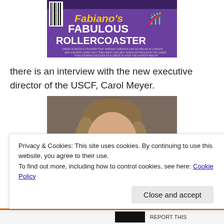[Figure (photo): Magazine cover showing 'Fabiano's FABULOUS ROLLERCOASTER' with purple background and text about chess]
there is an interview with the new executive director of the USCF, Carol Meyer.
[Figure (photo): Portrait photograph of Carol Meyer, a woman with shoulder-length brown/blonde hair wearing glasses, smiling, against a dark grey/brown background]
Privacy & Cookies: This site uses cookies. By continuing to use this website, you agree to their use.
To find out more, including how to control cookies, see here: Cookie Policy